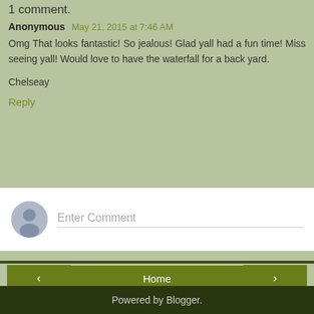1 comment.
Anonymous May 21, 2015 at 7:46 AM
Omg That looks fantastic! So jealous! Glad yall had a fun time! Miss seeing yall! Would love to have the waterfall for a back yard.
Chelseay
Reply
Enter Comment
Home
View web version
Powered by Blogger.